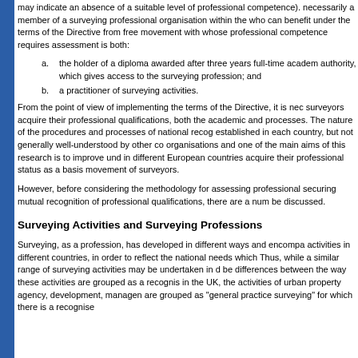may indicate an absence of a suitable level of professional competence). necessarily a member of a surveying professional organisation within the who can benefit under the terms of the Directive from free movement with whose professional competence requires assessment is both:
a. the holder of a diploma awarded after three years full-time academ authority, which gives access to the surveying profession; and
b. a practitioner of surveying activities.
From the point of view of implementing the terms of the Directive, it is nec surveyors acquire their professional qualifications, both the academic and processes. The nature of the procedures and processes of national recog established in each country, but not generally well-understood by other co organisations and one of the main aims of this research is to improve und in different European countries acquire their professional status as a basis movement of surveyors.
However, before considering the methodology for assessing professional securing mutual recognition of professional qualifications, there are a num be discussed.
Surveying Activities and Surveying Professions
Surveying, as a profession, has developed in different ways and encompa activities in different countries, in order to reflect the national needs which Thus, while a similar range of surveying activities may be undertaken in d be differences between the way these activities are grouped as a recognis in the UK, the activities of urban property agency, development, managen are grouped as "general practice surveying" for which there is a recognise